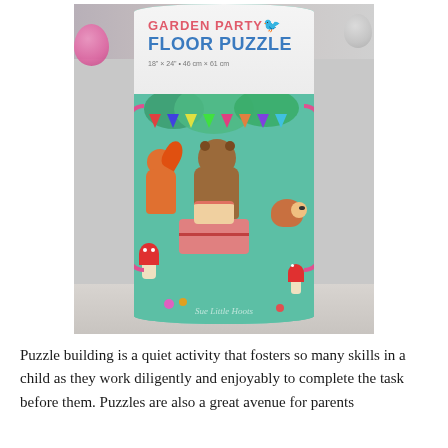[Figure (photo): A cylindrical floor puzzle tube container labeled 'Garden Party Floor Puzzle' with colorful forest animal party scene illustration and pink rope handle, photographed on a light surface with blurred toys in the background. Watermark reads 'Sue Little Hoots'.]
Puzzle building is a quiet activity that fosters so many skills in a child as they work diligently and enjoyably to complete the task before them. Puzzles are also a great avenue for parents